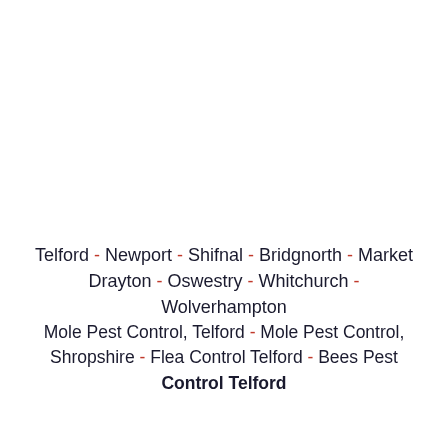Telford - Newport - Shifnal - Bridgnorth - Market Drayton - Oswestry - Whitchurch - Wolverhampton Mole Pest Control, Telford - Mole Pest Control, Shropshire - Flea Control Telford - Bees Pest Control Telford